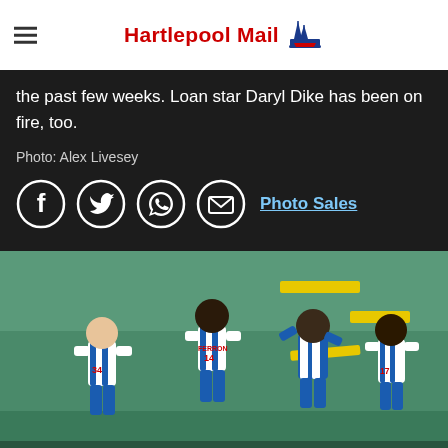Hartlepool Mail
the past few weeks. Loan star Daryl Dike has been on fire, too.
Photo: Alex Livesey
[Figure (other): Social sharing icons: Facebook, Twitter, WhatsApp, Email, and Photo Sales link]
[Figure (photo): Football players in blue and white striped jerseys on a pitch, numbers 34, 14 visible on backs, celebrating or standing together]